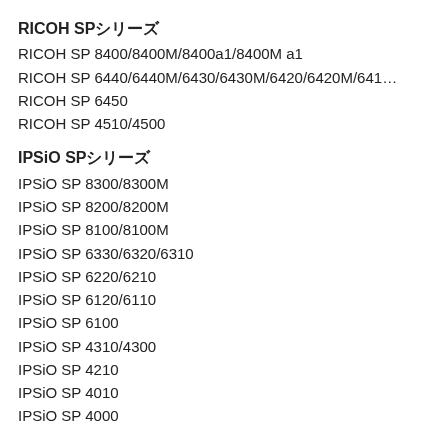RICOH SP シリーズ
RICOH SP 8400/8400M/8400a1/8400M a1
RICOH SP 6440/6440M/6430/6430M/6420/6420M/6410…
RICOH SP 6450
RICOH SP 4510/4500
IPSiO SP シリーズ
IPSiO SP 8300/8300M
IPSiO SP 8200/8200M
IPSiO SP 8100/8100M
IPSiO SP 6330/6320/6310
IPSiO SP 6220/6210
IPSiO SP 6120/6110
IPSiO SP 6100
IPSiO SP 4310/4300
IPSiO SP 4210
IPSiO SP 4010
IPSiO SP 4000